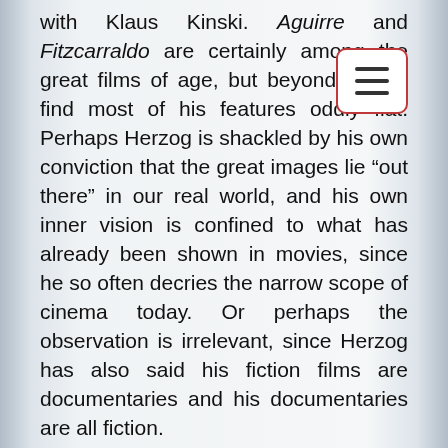with Klaus Kinski. Aguirre and Fitzcarraldo are certainly among the great films of a[ge], but beyond them I find most of his features oddly flat. Perhaps Herzog is shackled by his own conviction that the great images lie "out there" in our real world, and his own inner vision is confined to what has already been shown in movies, since he so often decries the narrow scope of cinema today. Or perhaps the observation is irrelevant, since Herzog has also said his fiction films are documentaries and his documentaries are all fiction.
The truth is, even in his documentaries, Herzog does stage many things, and his films all take place in a kind of heightened realm several steps removed from reality. Many of them would meander right out of existence without the support of his narration — Fata Morgana being the wordless, wondrous exception — and